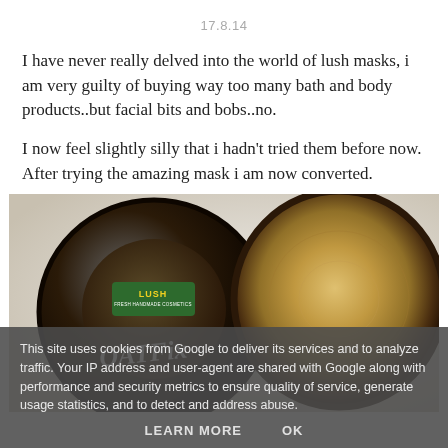17.8.14
I have never really delved into the world of lush masks, i am very guilty of buying way too many bath and body products..but facial bits and bobs..no.
I now feel slightly silly that i hadn't tried them before now. After trying the amazing mask i am now converted.
[Figure (photo): A Lush brand face mask product showing the dark circular jar lid on the left with the green Lush logo label visible, and the open jar on the right revealing a tan/brown textured mask product inside. Product name 'OATFix' visible on lid.]
This site uses cookies from Google to deliver its services and to analyze traffic. Your IP address and user-agent are shared with Google along with performance and security metrics to ensure quality of service, generate usage statistics, and to detect and address abuse.
LEARN MORE    OK